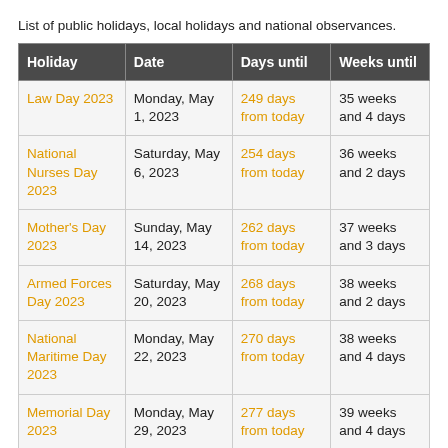List of public holidays, local holidays and national observances.
| Holiday | Date | Days until | Weeks until |
| --- | --- | --- | --- |
| Law Day 2023 | Monday, May 1, 2023 | 249 days from today | 35 weeks and 4 days |
| National Nurses Day 2023 | Saturday, May 6, 2023 | 254 days from today | 36 weeks and 2 days |
| Mother's Day 2023 | Sunday, May 14, 2023 | 262 days from today | 37 weeks and 3 days |
| Armed Forces Day 2023 | Saturday, May 20, 2023 | 268 days from today | 38 weeks and 2 days |
| National Maritime Day 2023 | Monday, May 22, 2023 | 270 days from today | 38 weeks and 4 days |
| Memorial Day 2023 | Monday, May 29, 2023 | 277 days from today | 39 weeks and 4 days |